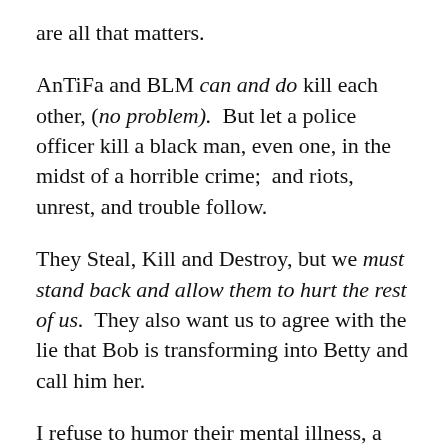are all that matters.
AnTiFa and BLM can and do kill each other, (no problem).  But let a police officer kill a black man, even one, in the midst of a horrible crime;  and riots, unrest, and trouble follow.
They Steal, Kill and Destroy, but we must stand back and allow them to hurt the rest of us.  They also want us to agree with the lie that Bob is transforming into Betty and call him her.
I refuse to humor their mental illness, a boy, is a boy, is a boy, even if he